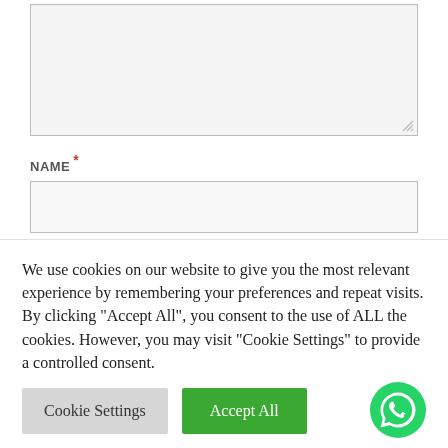[Figure (screenshot): Textarea form field (empty, light gray background) with resize handle at bottom right]
NAME *
[Figure (screenshot): Name input field (empty, light gray background)]
EMAIL *
We use cookies on our website to give you the most relevant experience by remembering your preferences and repeat visits. By clicking "Accept All", you consent to the use of ALL the cookies. However, you may visit "Cookie Settings" to provide a controlled consent.
Cookie Settings
Accept All